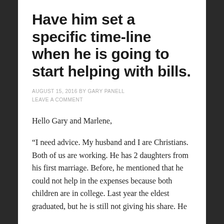Have him set a specific time-line when he is going to start helping with bills.
AUGUST 15, 2016 BY GARY PANELL
LEAVE A COMMENT
Hello Gary and Marlene,
“I need advice. My husband and I are Christians. Both of us are working. He has 2 daughters from his first marriage. Before, he mentioned that he could not help in the expenses because both children are in college. Last year the eldest graduated, but he is still not giving his share. He